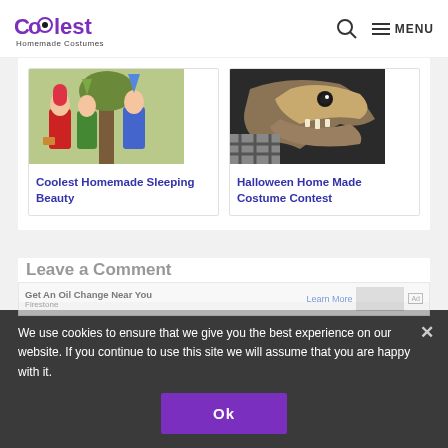[Figure (logo): Coolest Homemade Costumes logo with purple text and circular icon]
[Figure (photo): Three children dressed in Sleeping Beauty character costumes outdoors]
Coolest Homemade Sleeping Beauty
[Figure (photo): Halloween costume of a large creature/dinosaur head with plaid fabric]
Halloween Home Made Costume Contest
Leave a Comment
Get An Oil Change Near You
Firestone
We use cookies to ensure that we give you the best experience on our website. If you continue to use this site we will assume that you are happy with it.
Ok